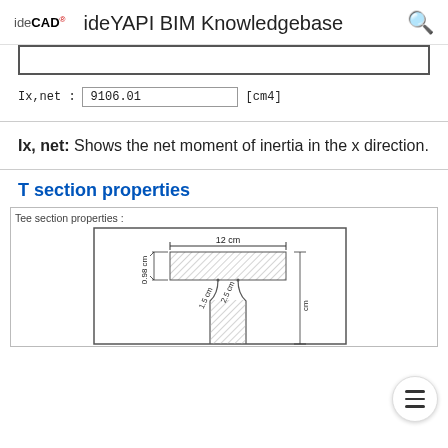ideCAD  ideYAPI BIM Knowledgebase
[Figure (screenshot): Input field showing Ix,net: 9106.01 [cm4]]
Ix, net: Shows the net moment of inertia in the x direction.
T section properties
[Figure (engineering-diagram): Tee section properties diagram showing a T-shaped cross section with dimensions: 12 cm width, 0.98 cm flange thickness, 1.5 cm and 2.5 cm fillet dimensions, with hatching on the flange portion]